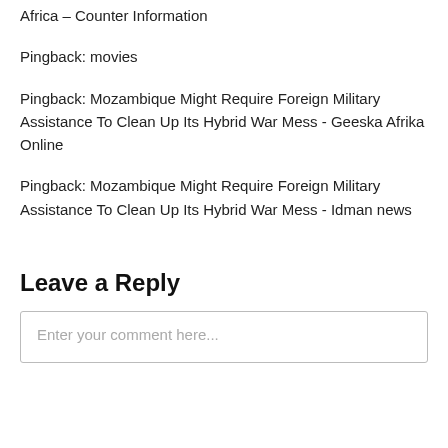Africa – Counter Information
Pingback: movies
Pingback: Mozambique Might Require Foreign Military Assistance To Clean Up Its Hybrid War Mess - Geeska Afrika Online
Pingback: Mozambique Might Require Foreign Military Assistance To Clean Up Its Hybrid War Mess - Idman news
Leave a Reply
Enter your comment here...